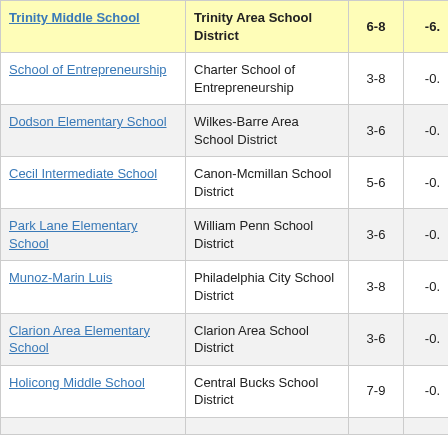| School | District | Grades | Score |
| --- | --- | --- | --- |
| Trinity Middle School | Trinity Area School District | 6-8 | -6. |
| School of Entrepreneurship | Charter School of Entrepreneurship | 3-8 | -0. |
| Dodson Elementary School | Wilkes-Barre Area School District | 3-6 | -0. |
| Cecil Intermediate School | Canon-Mcmillan School District | 5-6 | -0. |
| Park Lane Elementary School | William Penn School District | 3-6 | -0. |
| Munoz-Marin Luis | Philadelphia City School District | 3-8 | -0. |
| Clarion Area Elementary School | Clarion Area School District | 3-6 | -0. |
| Holicong Middle School | Central Bucks School District | 7-9 | -0. |